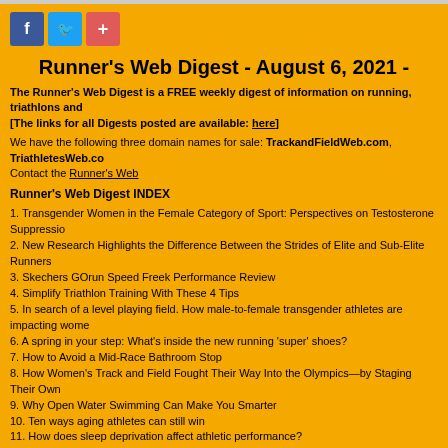[Figure (other): Social share buttons: Facebook (blue), Twitter (light blue), Plus/Add (red-pink)]
Runner's Web Digest - August 6, 2021 -
The Runner's Web Digest is a FREE weekly digest of information on running, triathlons and [The links for all Digests posted are available: here]
We have the following three domain names for sale: TrackandFieldWeb.com, TriathletesWeb.co Contact the Runner's Web
Runner's Web Digest INDEX
1. Transgender Women in the Female Category of Sport: Perspectives on Testosterone Suppressio
2. New Research Highlights the Difference Between the Strides of Elite and Sub-Elite Runners
3. Skechers GOrun Speed Freek Performance Review
4. Simplify Triathlon Training With These 4 Tips
5. In search of a level playing field. How male-to-female transgender athletes are impacting wome
6. A spring in your step: What's inside the new running 'super' shoes?
7. How to Avoid a Mid-Race Bathroom Stop
8. How Women's Track and Field Fought Their Way Into the Olympics—by Staging Their Own
9. Why Open Water Swimming Can Make You Smarter
10. Ten ways aging athletes can still win
11. How does sleep deprivation affect athletic performance?
12. Tokyo 2020: How many calories do Olympic athletes burn?
13. The Making of an Olympian
14. By a four-to-one margin, Canadians believe transgender athletes' participation in women's spo
15. As Sifan Hassan Attempts Olympic Triple, a Look at Historic Multi-Medalists
THIS WEEK'S POLL:
In regards to the IAAF ruling on limiting testosterone levels for female athletes:
* I agree with the IAAF ruling regarding events from 800M to the Mile
* The ruling should apply to all events
* The ruling is wrong and there should be no limits
* No Opinion